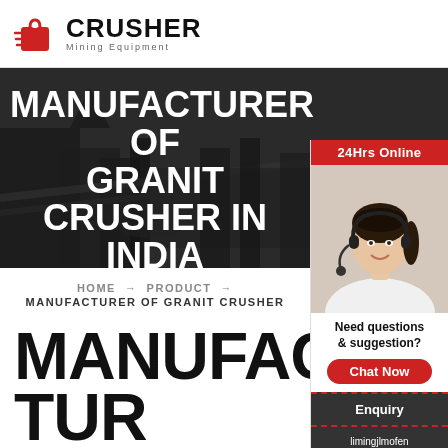[Figure (logo): Crusher Mining Equipment logo with red shopping bag icon and bold CRUSHER text]
[Figure (photo): Dark industrial background showing mining/crusher equipment silhouettes with bold white text overlay: MANUFACTURER OF GRANIT CRUSHER IN INDIA]
MANUFACTURER OF GRANIT CRUSHER IN INDIA
HOME → PRODUCT →
MANUFACTURER OF GRANIT CRUSHER
MANUFACTURER OF GRANIT
[Figure (photo): Sidebar panel: 24Hrs Online red bar, photo of smiling woman with headset, Need questions & suggestion? text, Chat Now red button, Enquiry section, limingjlmofen@sina.com email]